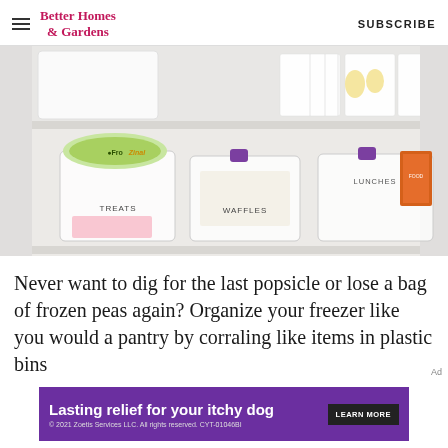Better Homes & Gardens   SUBSCRIBE
[Figure (photo): Organized freezer shelf with labeled clear plastic bins containing items labeled TREATS, WAFFLES, and LUNCHES, along with a Frazinal container with green lid and other food packages]
Never want to dig for the last popsicle or lose a bag of frozen peas again? Organize your freezer like you would a pantry by corraling like items in plastic bins
[Figure (other): Purple advertisement banner: 'Lasting relief for your itchy dog' with LEARN MORE button and copyright text '© 2021 Zoetis Services LLC. All rights reserved. CYT-01046BI']